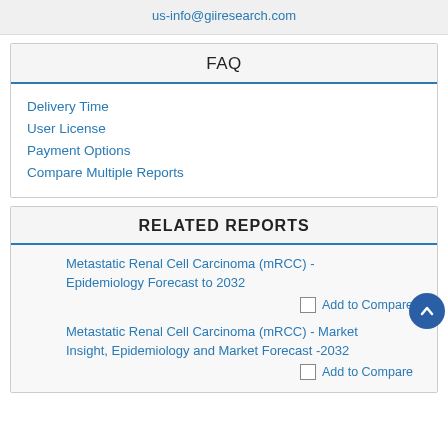us-info@giiresearch.com
FAQ
Delivery Time
User License
Payment Options
Compare Multiple Reports
RELATED REPORTS
Metastatic Renal Cell Carcinoma (mRCC) - Epidemiology Forecast to 2032
Add to Compare
Metastatic Renal Cell Carcinoma (mRCC) - Market Insight, Epidemiology and Market Forecast -2032
Add to Compare